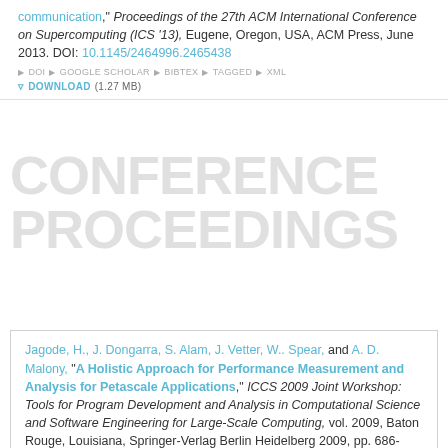communication," Proceedings of the 27th ACM International Conference on Supercomputing (ICS '13), Eugene, Oregon, USA, ACM Press, June 2013. DOI: 10.1145/2464996.2465438
▶ DOI ▶ GOOGLE SCHOLAR ▶ BIBTEX ▶ TAGGED ▶ XML
DOWNLOAD (1.27 MB)
CONFERENCE PROCEEDINGS
Jagode, H., J. Dongarra, S. Alam, J. Vetter, W.. Spear, and A. D. Malony, "A Holistic Approach for Performance Measurement and Analysis for Petascale Applications," ICCS 2009 Joint Workshop: Tools for Program Development and Analysis in Computational Science and Software Engineering for Large-Scale Computing, vol. 2009, Baton Rouge, Louisiana, Springer-Verlag Berlin Heidelberg 2009, pp. 686-695, May 2009.
▶ GOOGLE SCHOLAR ▶ BIBTEX ▶ TAGGED ▶ XML
DOWNLOAD (3.96 MB)
Shende, S., A. D. Malony, S. Moore, and D. Cronk, "Memory Leak Detection in Fortran Applications using TAU," Proc. DoD HPCMP Users Group Conference (HPCMP-UGC'07), Pittsburgh, PA, IEEE Computer Society, January 2007.